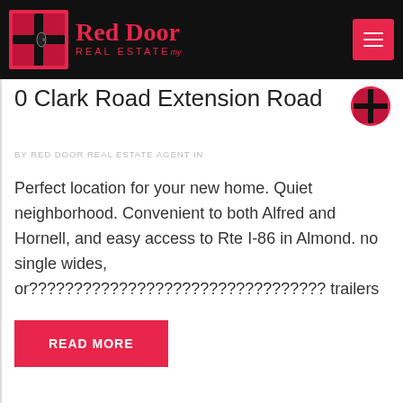Red Door Real Estate
0 Clark Road Extension Road
BY RED DOOR REAL ESTATE AGENT IN
Perfect location for your new home. Quiet neighborhood. Convenient to both Alfred and Hornell, and easy access to Rte I-86 in Almond. no single wides, or????????????????????????????????? trailers
READ MORE